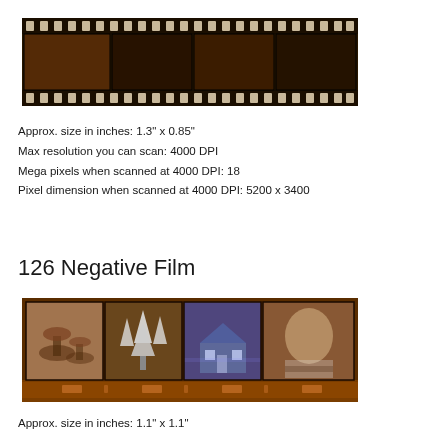[Figure (photo): 35mm negative film strip showing multiple dark photographic frames with sprocket holes along top and bottom edges]
Approx. size in inches: 1.3" x 0.85"
Max resolution you can scan: 4000 DPI
Mega pixels when scanned at 4000 DPI: 18
Pixel dimension when scanned at 4000 DPI: 5200 x 3400
126 Negative Film
[Figure (photo): 126 negative film strip showing four square photographic frames: mushrooms, winter trees, a house, and a baby/child portrait]
Approx. size in inches: 1.1" x 1.1"